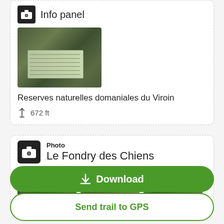Info panel
[Figure (photo): Photograph of an outdoor interpretive sign/information panel in a forested natural reserve setting]
Reserves naturelles domaniales du Viroin
672 ft
Photo
Le Fondry des Chiens
[Figure (photo): Three thumbnail photographs showing landscape views of Le Fondry des Chiens trail area]
Download
Send trail to GPS